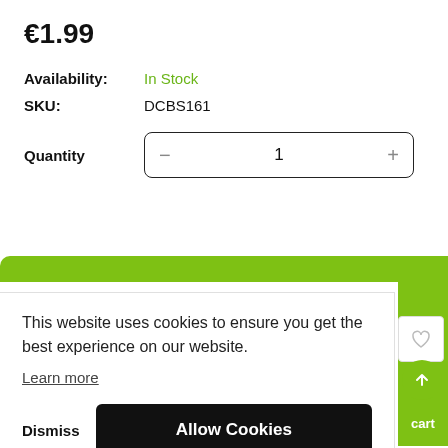€1.99
Availability:  In Stock
SKU:  DCBS161
Quantity  −  1  +
This website uses cookies to ensure you get the best experience on our website.
Learn more
Dismiss  Allow Cookies